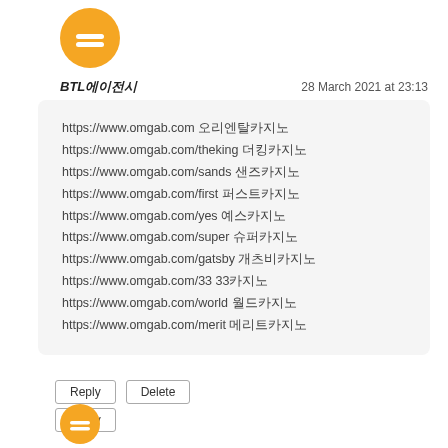[Figure (logo): Orange circular Blogger avatar icon with white equal sign in center]
BTL에이전시
28 March 2021 at 23:13
https://www.omgab.com 오리엔탈카지노
https://www.omgab.com/theking 더킹카지노
https://www.omgab.com/sands 샌즈카지노
https://www.omgab.com/first 퍼스트카지노
https://www.omgab.com/yes 예스카지노
https://www.omgab.com/super 슈퍼카지노
https://www.omgab.com/gatsby 개츠비카지노
https://www.omgab.com/33 33카지노
https://www.omgab.com/world 월드카지노
https://www.omgab.com/merit 메리트카지노
Reply
Delete
Reply
[Figure (photo): Orange circular avatar icon at bottom]